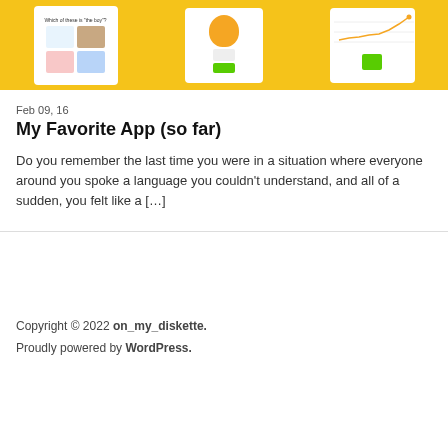[Figure (screenshot): App screenshots on yellow background showing Duolingo-style language learning app screens]
Feb 09, 16
My Favorite App (so far)
Do you remember the last time you were in a situation where everyone around you spoke a language you couldn't understand, and all of a sudden, you felt like a […]
Copyright © 2022 on_my_diskette.
Proudly powered by WordPress.